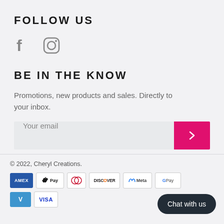FOLLOW US
[Figure (illustration): Facebook and Instagram social media icons in gray]
BE IN THE KNOW
Promotions, new products and sales. Directly to your inbox.
Your email [input field with pink submit button]
© 2022, Cheryl Creations. Payment icons: AMEX, Apple Pay, Diners, Discover, Meta, Google Pay, Venmo, VISA. Chat with us button.